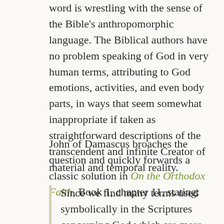word is wrestling with the sense of the Bible's anthropomorphic language. The Biblical authors have no problem speaking of God in very human terms, attributing to God emotions, activities, and even body parts, in ways that seem somewhat inappropriate if taken as straightforward descriptions of the transcendent and infinite Creator of material and temporal reality.
John of Damascus broaches the question and quickly forwards a classic solution in On the Orthodox Faith, Book 1, chapter 11, stating:
Since we find many terms used symbolically in the Scriptures concerning God which are more applicable to that which has body, we